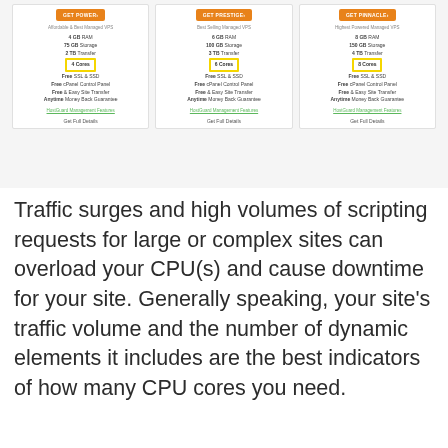[Figure (screenshot): Screenshot of three VPS hosting plan cards (Power, Prestige, Pinnacle) showing orange buttons, plan subtitles, and feature lists including GB RAM, GB Storage, TB Transfer, CPU Cores (highlighted in yellow boxes), Free SSL & SSD, Free cPanel Control Panel, Free & Easy Site Transfer, Anytime Money Back Guarantee, HostGuard Management Features, and Get Full Details links.]
Traffic surges and high volumes of scripting requests for large or complex sites can overload your CPU(s) and cause downtime for your site. Generally speaking, your site's traffic volume and the number of dynamic elements it includes are the best indicators of how many CPU cores you need.